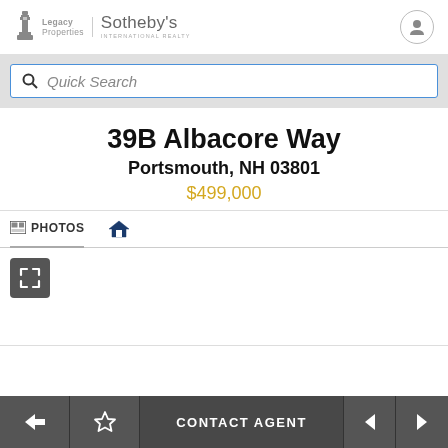[Figure (logo): Legacy Properties Sotheby's International Realty logo with lighthouse icon]
Quick Search
39B Albacore Way
Portsmouth, NH 03801
$499,000
PHOTOS
[Figure (screenshot): Photo viewer area with expand/fullscreen button]
CONTACT AGENT